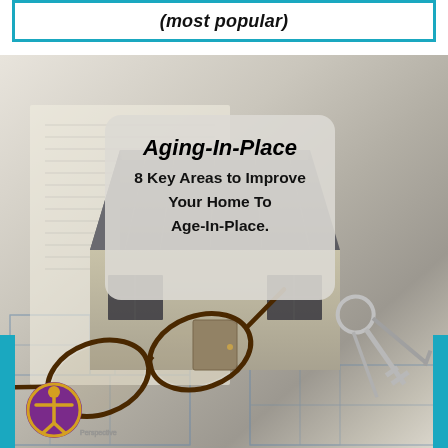(most popular)
[Figure (photo): A photo showing a miniature house model sitting on architectural blueprints, with reading glasses and house keys nearby. The scene is styled as a home planning/aging-in-place concept image.]
Aging-In-Place
8 Key Areas to Improve Your Home To Age-In-Place.